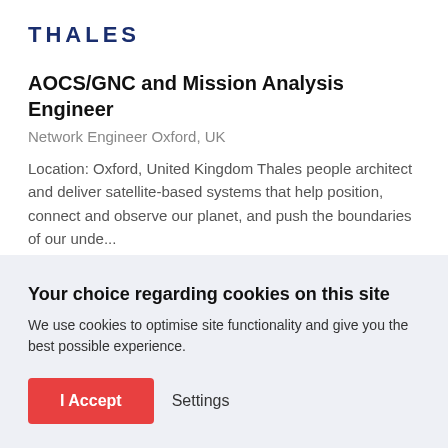[Figure (logo): Thales company logo in dark navy blue uppercase letters with wide letter-spacing]
AOCS/GNC and Mission Analysis Engineer
Network Engineer Oxford, UK
Location: Oxford, United Kingdom Thales people architect and deliver satellite-based systems that help position, connect and observe our planet, and push the boundaries of our unde...
Your choice regarding cookies on this site
We use cookies to optimise site functionality and give you the best possible experience.
I Accept
Settings